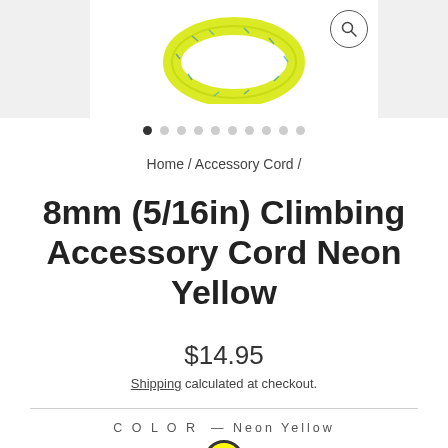[Figure (photo): Product image of a neon yellow climbing accessory cord (infinity/loop shape) on white background, with a magnifying glass icon in the top right corner]
[Figure (infographic): Pagination dots: 10 dots in a row, first dot is filled/active, rest are gray]
Home / Accessory Cord /
8mm (5/16in) Climbing Accessory Cord Neon Yellow
$14.95
Shipping calculated at checkout.
COLOR — Neon Yellow
[Figure (other): Neon yellow color swatch circle with dark border]